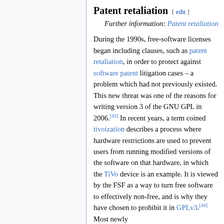Patent retaliation
Further information: Patent retaliation
During the 1990s, free-software licenses began including clauses, such as patent retaliation, in order to protect against software patent litigation cases – a problem which had not previously existed. This new threat was one of the reasons for writing version 3 of the GNU GPL in 2006.[43] In recent years, a term coined tivoization describes a process where hardware restrictions are used to prevent users from running modified versions of the software on that hardware, in which the TiVo device is an example. It is viewed by the FSF as a way to turn free software to effectively non-free, and is why they have chosen to prohibit it in GPLv3.[44] Most newly